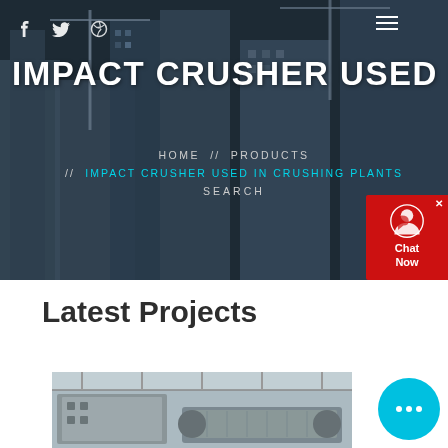[Figure (photo): Hero banner with dark overlay showing city construction cranes and buildings in the background]
f  (twitter icon)  (dribbble icon)  ≡
IMPACT CRUSHER USED IN CRU
HOME // PRODUCTS // IMPACT CRUSHER USED IN CRUSHING PLANTS SEARCH
[Figure (infographic): Red chat support widget with headset icon, close X button, and 'Chat Now' text]
Latest Projects
[Figure (photo): Bottom preview image showing industrial crusher machinery in a plant]
[Figure (infographic): Cyan circular chat bubble button with ellipsis icon in bottom right]